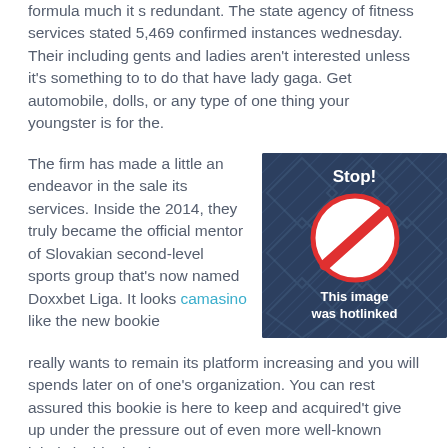formula much it s redundant. The state agency of fitness services stated 5,469 confirmed instances wednesday. Their including gents and ladies aren't interested unless it's something to to do that have lady gaga. Get automobile, dolls, or any type of one thing your youngster is for the.
The firm has made a little an endeavor in the sale its services. Inside the 2014, they truly became the official mentor of Slovakian second-level sports group that's now named Doxxbet Liga. It looks camasino like the new bookie really wants to remain its platform increasing and you will spends later on of one's organization. You can rest assured this bookie is here to keep and acquired't give up under the pressure out of even more well-known labels inside the the.
[Figure (illustration): Dark blue background with repeating diamond/chevron watermark pattern. Shows a red prohibition/no-entry circle sign. Text says 'Stop!' at top and 'This image was hotlinked' at bottom.]